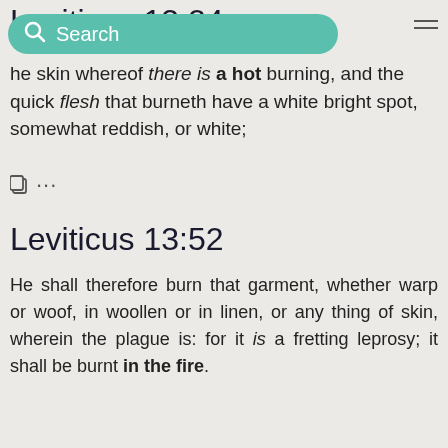Leviticus 13:24
he skin whereof there is a hot burning, and the quick flesh that burneth have a white bright spot, somewhat reddish, or white;
Leviticus 13:52
He shall therefore burn that garment, whether warp or woof, in woollen or in linen, or any thing of skin, wherein the plague is: for it is a fretting leprosy; it shall be burnt in the fire.